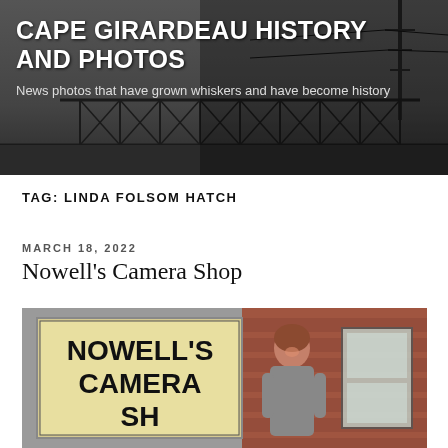CAPE GIRARDEAU HISTORY AND PHOTOS
News photos that have grown whiskers and have become history
TAG: LINDA FOLSOM HATCH
MARCH 18, 2022
Nowell's Camera Shop
[Figure (photo): Woman standing next to a large Nowell's Camera Shop sign against a brick wall background]